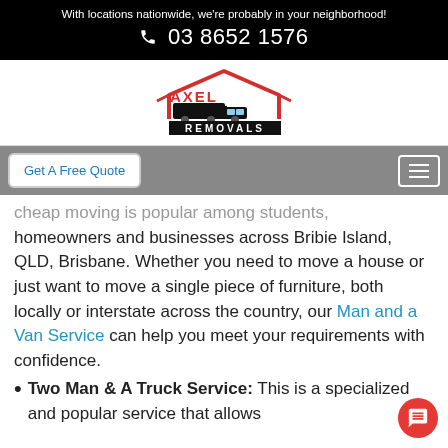With locations nationwide, we're probably in your neighborhood!
☎ 03 8652 1576
[Figure (logo): Axel Removals logo: red house roof outline with a black truck silhouette and 'AXEL REMOVALS' text in red and black]
Get A Free Quote
cheap moving is popular among students, homeowners and businesses across Bribie Island, QLD, Brisbane. Whether you need to move a house or just want to move a single piece of furniture, both locally or interstate across the country, our Man and a Van Service can help you meet your requirements with confidence.
Two Man & A Truck Service: This is a specialized and popular service that allows